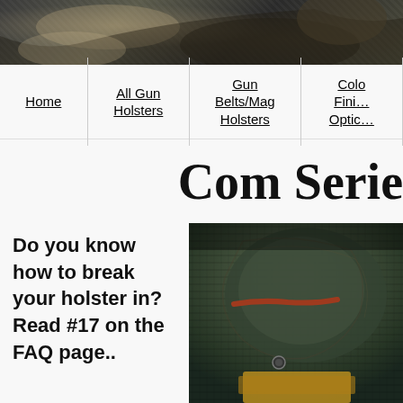[Figure (photo): Close-up photo of leather holster texture, dark tones with brown/tan accents at the top of the page]
Home | All Gun Holsters | Gun Belts/Mag Holsters | Color Finish Options
Com Serie
Do you know how to break your holster in? Read #17 on the FAQ page..
[Figure (photo): Close-up product photo of a textured leather holster with dark green/grey coloring, showing stitching detail with orange/red and yellow accents visible]